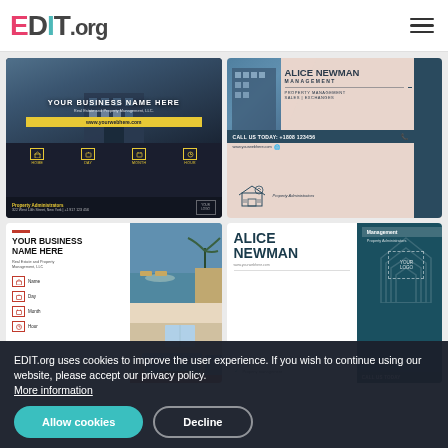EDIT.org
[Figure (screenshot): Four real estate business card templates in a 2x2 grid. Top-left: dark navy card with 'YOUR BUSINESS NAME HERE / Real Estate and Property Management, LLC / www.yourwebhere.com' with gold accents and icons. Top-right: pink/teal 'ALICE NEWMAN MANAGEMENT / PROPERTY MANAGEMENT SALES | EXCHANGES / CALL US TODAY: +1808 123456'. Bottom-left: white card 'YOUR BUSINESS NAME HERE / Real Estate and Property Management, LLC' with red accents and photo. Bottom-right: teal 'ALICE NEWMAN' card with management branding.]
EDIT.org uses cookies to improve the user experience. If you wish to continue using our website, please accept our privacy policy.
More information
Allow cookies
Decline